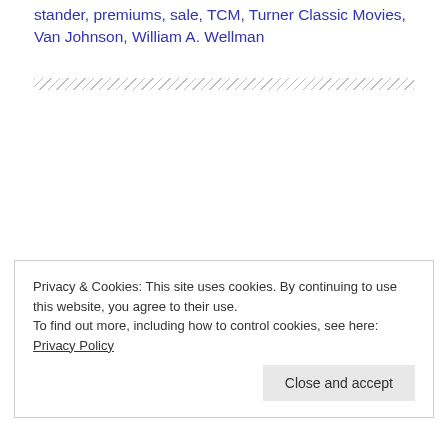stander, premiums, sale, TCM, Turner Classic Movies, Van Johnson, William A. Wellman
[Figure (other): Diagonal hatch pattern divider bar]
Privacy & Cookies: This site uses cookies. By continuing to use this website, you agree to their use. To find out more, including how to control cookies, see here: Privacy Policy